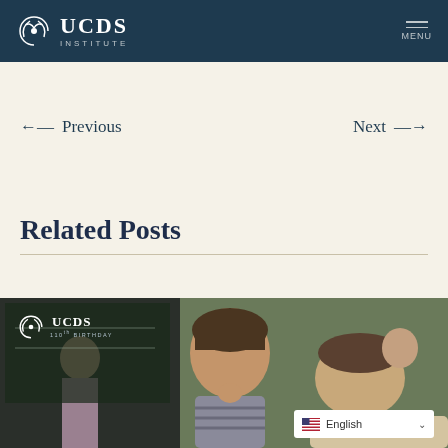UCDS INSTITUTE — MENU
← Previous
Next →
Related Posts
[Figure (photo): Classroom photo showing a young child looking at the camera with an adult leaning in, overlaid with the UCDS 110th Birthday logo watermark in the top-left corner and an English language selector in the bottom-right corner.]